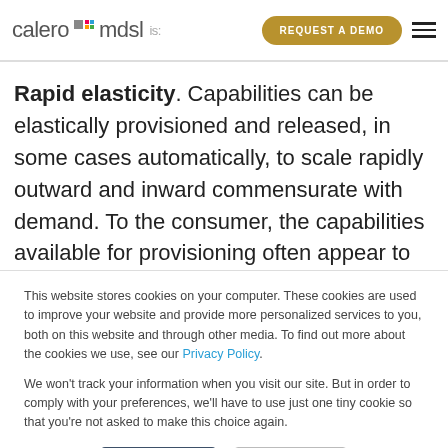calero mdsl — REQUEST A DEMO
Rapid elasticity. Capabilities can be elastically provisioned and released, in some cases automatically, to scale rapidly outward and inward commensurate with demand. To the consumer, the capabilities available for provisioning often appear to be unlimited and can be
This website stores cookies on your computer. These cookies are used to improve your website and provide more personalized services to you, both on this website and through other media. To find out more about the cookies we use, see our Privacy Policy.

We won't track your information when you visit our site. But in order to comply with your preferences, we'll have to use just one tiny cookie so that you're not asked to make this choice again.
Accept
Decline